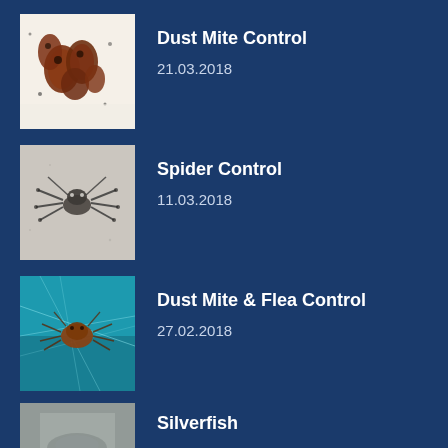Dust Mite Control
21.03.2018
Spider Control
11.03.2018
Dust Mite & Flea Control
27.02.2018
Silverfish